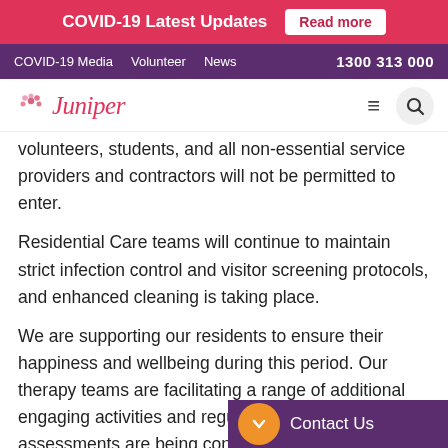COVID-19 Latest Updates  Read more
COVID-19 Media  Volunteer  News  1300 313 000
Juniper (logo)
volunteers, students, and all non-essential service providers and contractors will not be permitted to enter.
Residential Care teams will continue to maintain strict infection control and visitor screening protocols, and enhanced cleaning is taking place.
We are supporting our residents to ensure their happiness and wellbeing during this period. Our therapy teams are facilitating a range of additional engaging activities and regular w... assessments are being conducted...